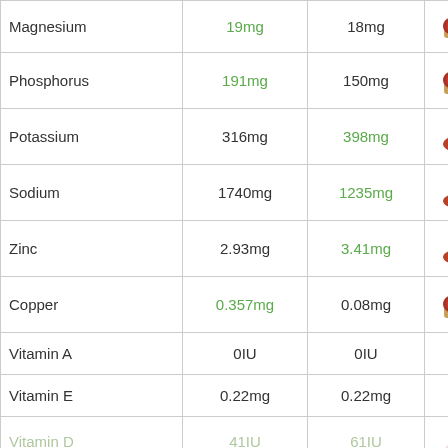| Nutrient | Value 1 | Value 2 | Image |
| --- | --- | --- | --- |
| Magnesium | 19mg | 18mg |  |
| Phosphorus | 191mg | 150mg |  |
| Potassium | 316mg | 398mg |  |
| Sodium | 1740mg | 1235mg |  |
| Zinc | 2.93mg | 3.41mg |  |
| Copper | 0.357mg | 0.08mg |  |
| Vitamin A | 0IU | 0IU |  |
| Vitamin E | 0.22mg | 0.22mg |  |
| Vitamin D | 41IU | 61IU |  |